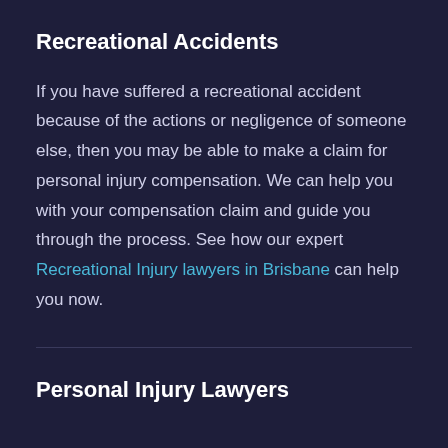Recreational Accidents
If you have suffered a recreational accident because of the actions or negligence of someone else, then you may be able to make a claim for personal injury compensation. We can help you with your compensation claim and guide you through the process. See how our expert Recreational Injury lawyers in Brisbane can help you now.
Personal Injury Lawyers